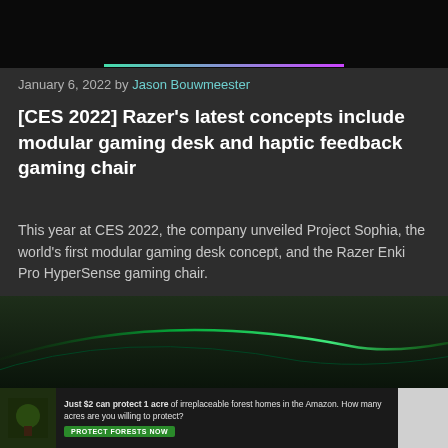[Figure (screenshot): Dark header area with a thin gradient bar (green to purple) near the top center, on a black background.]
January 6, 2022 by Jason Bouwmeester
[CES 2022] Razer's latest concepts include modular gaming desk and haptic feedback gaming chair
This year at CES 2022, the company unveiled Project Sophia, the world's first modular gaming desk concept, and the Razer Enki Pro HyperSense gaming chair.
Gaming, Gaming Hardware
[Figure (screenshot): Dark gaming-themed image with green lighting arcs, partially visible at the bottom of the page.]
[Figure (screenshot): Advertisement banner: 'Just $2 can protect 1 acre of irreplaceable forest homes in the Amazon. How many acres are you willing to protect?' with a green 'PROTECT FORESTS NOW' button.]